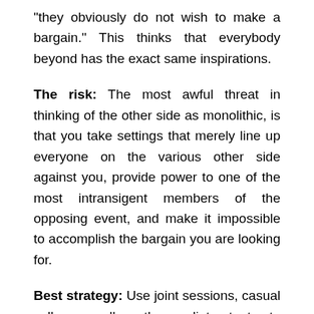"they obviously do not wish to make a bargain." This thinks that everybody beyond has the exact same inspirations.
The risk: The most awful threat in thinking of the other side as monolithic, is that you take settings that merely line up everyone on the various other side against you, provide power to one of the most intransigent members of the opposing event, and make it impossible to accomplish the bargain you are looking for.
Best strategy: Use joint sessions, casual calls, as well as the mediator to try to uncover the placements and